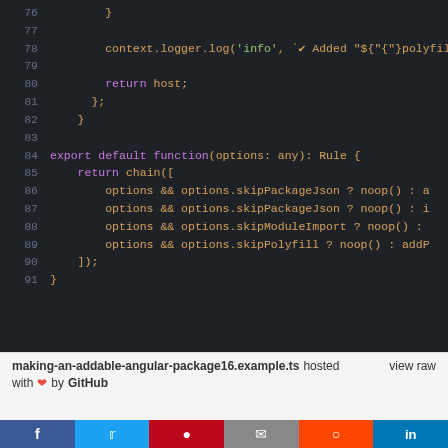[Figure (screenshot): Code editor screenshot showing TypeScript source code lines 76-91 with dark theme. Lines include closing braces, context.logger.log call, return host, export default function, return chain with options conditions.]
making-an-addable-angular-package16.example.ts hosted view raw with ❤ by GitHub
f  t  p  mail  reddit  in